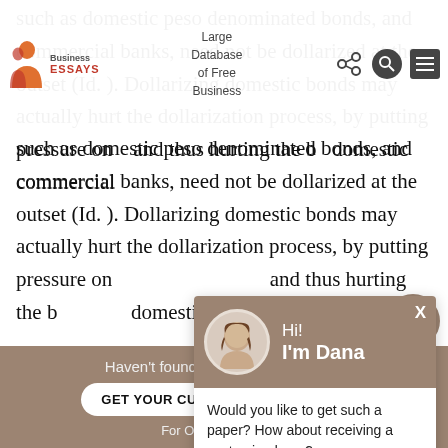Business Essays — Large Database of Free Business Essays
such as domestic peso denominated bonds, and commercial banks, need not be dollarized at the outset (Id. ). Dollarizing domestic bonds may actually hurt the dollarization process, by putting pressure on... and thus hurting the b... domestic commercial...
Furthermore, commer... reserves at the Mexica... convert all their assets... can simply issue gove... dollars, or simply give the commercial banks e...
[Figure (screenshot): Chat popup with avatar of woman named Dana asking 'Would you like to get such a paper? How about receiving a customized one?' with 'Check it out' link]
Haven't found the Essay You Want?
GET YOUR CUSTOM ESSAY SAMPLE
For Only $13.90/page